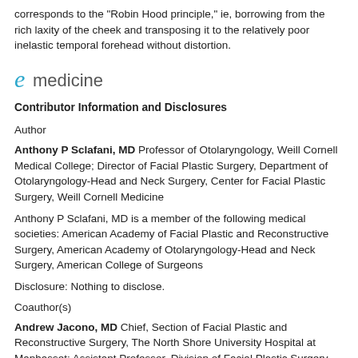corresponds to the "Robin Hood principle," ie, borrowing from the rich laxity of the cheek and transposing it to the relatively poor inelastic temporal forehead without distortion.
[Figure (logo): eMedicine logo with stylized italic 'e' in teal/blue and 'medicine' in gray sans-serif text]
Contributor Information and Disclosures
Author
Anthony P Sclafani, MD Professor of Otolaryngology, Weill Cornell Medical College; Director of Facial Plastic Surgery, Department of Otolaryngology-Head and Neck Surgery, Center for Facial Plastic Surgery, Weill Cornell Medicine
Anthony P Sclafani, MD is a member of the following medical societies: American Academy of Facial Plastic and Reconstructive Surgery, American Academy of Otolaryngology-Head and Neck Surgery, American College of Surgeons
Disclosure: Nothing to disclose.
Coauthor(s)
Andrew Jacono, MD Chief, Section of Facial Plastic and Reconstructive Surgery, The North Shore University Hospital at Manhasset; Assistant Professor, Division of Facial Plastic Surgery, The New York Eye and Ear Infirmary, New York Medical College; Assistant Professor, Department of Head and Neck Surgery, Albert Einstein College of Medicine; Director, The New York Center for Facial Plastic and Laser Surgery